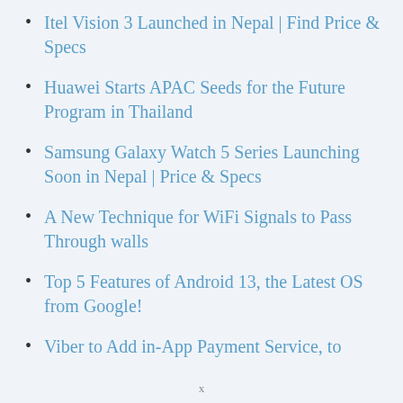Itel Vision 3 Launched in Nepal | Find Price & Specs
Huawei Starts APAC Seeds for the Future Program in Thailand
Samsung Galaxy Watch 5 Series Launching Soon in Nepal | Price & Specs
A New Technique for WiFi Signals to Pass Through walls
Top 5 Features of Android 13, the Latest OS from Google!
Viber to Add in-App Payment Service, to
x